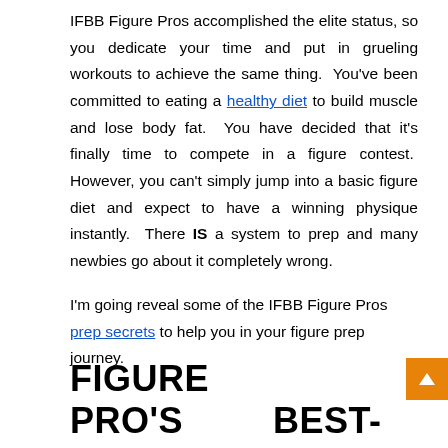IFBB Figure Pros accomplished the elite status, so you dedicate your time and put in grueling workouts to achieve the same thing. You've been committed to eating a healthy diet to build muscle and lose body fat. You have decided that it's finally time to compete in a figure contest. However, you can't simply jump into a basic figure diet and expect to have a winning physique instantly. There IS a system to prep and many newbies go about it completely wrong.
I'm going reveal some of the IFBB Figure Pros prep secrets to help you in your figure prep journey.
FIGURE PRO'S BEST-KEPT SECRET #1